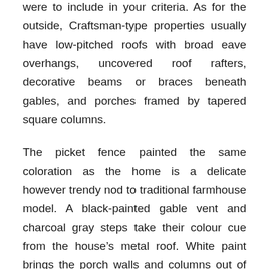were to include in your criteria. As for the outside, Craftsman-type properties usually have low-pitched roofs with broad eave overhangs, uncovered roof rafters, decorative beams or braces beneath gables, and porches framed by tapered square columns.
The picket fence painted the same coloration as the home is a delicate however trendy nod to traditional farmhouse model. A black-painted gable vent and charcoal gray steps take their colour cue from the house’s metal roof. White paint brings the porch walls and columns out of the roof’s shadow and in addition handily highlights inexperienced shutters and a front door stained to match the house’s siding.
Selecting from a nearly endless parade of exterior paint